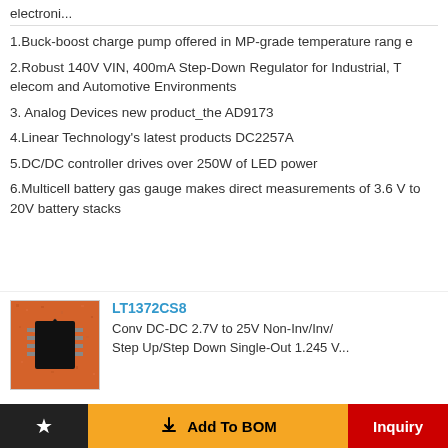electroni...
1.Buck-boost charge pump offered in MP-grade temperature range
2.Robust 140V VIN, 400mA Step-Down Regulator for Industrial, Telecom and Automotive Environments
3. Analog Devices new product_the AD9173
4.Linear Technology's latest products DC2257A
5.DC/DC controller drives over 250W of LED power
6.Multicell battery gas gauge makes direct measurements of 3.6V to 20V battery stacks
LT1372CS8
Conv DC-DC 2.7V to 25V Non-Inv/Inv/Step Up/Step Down Single-Out 1.245 V...
Add To BOM
Inquiry